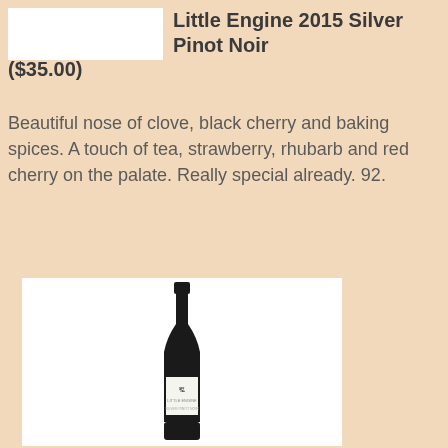[Figure (photo): White rectangular image placeholder showing top portion of wine bottle]
Little Engine 2015 Silver Pinot Noir ($35.00)
Beautiful nose of clove, black cherry and baking spices. A touch of tea, strawberry, rhubarb and red cherry on the palate. Really special already. 92.
[Figure (photo): Wine bottle with white label featuring Little Engine logo on a white background]